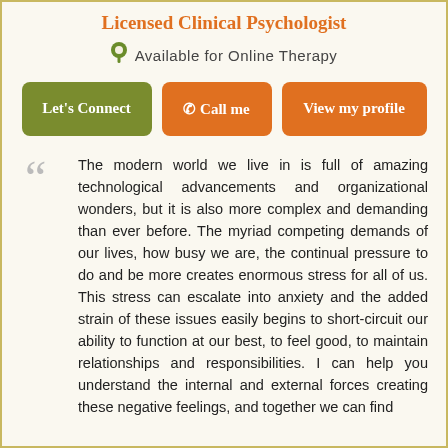Licensed Clinical Psychologist
Available for Online Therapy
Let's Connect | Call me | View my profile
The modern world we live in is full of amazing technological advancements and organizational wonders, but it is also more complex and demanding than ever before. The myriad competing demands of our lives, how busy we are, the continual pressure to do and be more creates enormous stress for all of us. This stress can escalate into anxiety and the added strain of these issues easily begins to short-circuit our ability to function at our best, to feel good, to maintain relationships and responsibilities. I can help you understand the internal and external forces creating these negative feelings, and together we can find